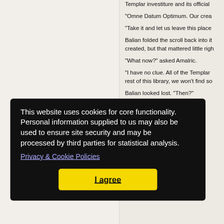[Figure (screenshot): A webpage screenshot showing a two-column layout. The left column is a light beige/cream blank area. The right column contains body text from a historical novel about Templars, Balian, and Amalric. A black cookie consent banner overlays the lower portion of the page with text about cookies and site functionality, a Privacy & Cookie Policies link, and a yellow 'I agree' button.]
Templar investiture and its official
"Omne Datum Optimum. Our crea
"Take it and let us leave this place
Balian folded the scroll back into it created, but that mattered little righ
"What now?" asked Amalric.
"I have no clue. All of the Templar rest of this library, we won't find so
Balian looked lost. "Then?"
this city
c.
nople,"
prised.
e. There alian fol ast saltp
This website uses cookies for core functionality. Personal information supplied to us may also be used to ensure site security and may be processed by third parties for statistical analysis.
Privacy & Cookie Policies
I agree